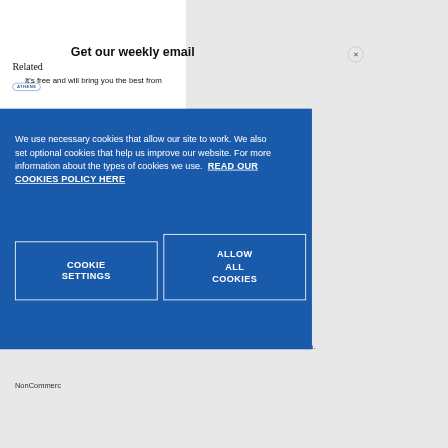Related
ATHENS
Get our weekly email
It's free and will bring you the best from
We use necessary cookies that allow our site to work. We also set optional cookies that help us improve our website. For more information about the types of cookies we use. READ OUR COOKIES POLICY HERE
COOKIE SETTINGS
ALLOW ALL COOKIES
data.
NonCommerce